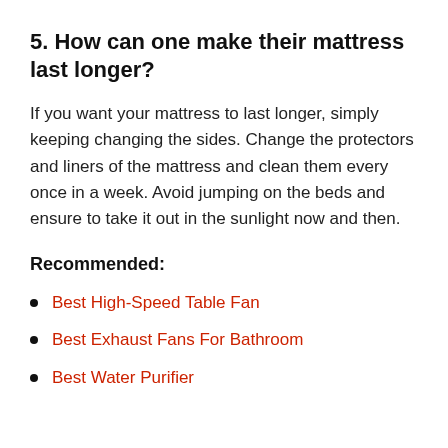5. How can one make their mattress last longer?
If you want your mattress to last longer, simply keeping changing the sides. Change the protectors and liners of the mattress and clean them every once in a week. Avoid jumping on the beds and ensure to take it out in the sunlight now and then.
Recommended:
Best High-Speed Table Fan
Best Exhaust Fans For Bathroom
Best Water Purifier